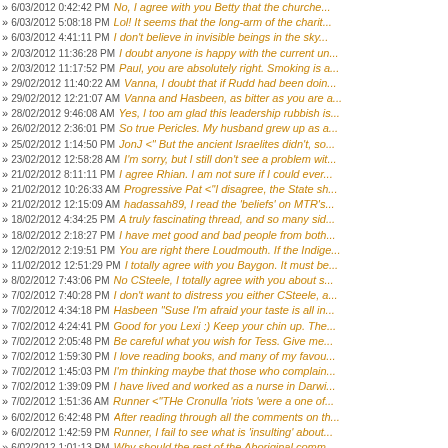6/03/2012 0:42:42 PM No, I agree with you Betty that the churche...
6/03/2012 5:08:18 PM Lol! It seems that the long-arm of the charit...
6/03/2012 4:41:11 PM I don't believe in invisible beings in the sky...
2/03/2012 11:36:28 PM I doubt anyone is happy with the current un...
2/03/2012 11:17:52 PM Paul, you are absolutely right. Smoking is a...
29/02/2012 11:40:22 AM Vanna, I doubt that if Rudd had been doin...
29/02/2012 12:21:07 AM Vanna and Hasbeen, as bitter as you are...
28/02/2012 9:46:08 AM Yes, I too am glad this leadership rubbish is...
26/02/2012 2:36:01 PM So true Pericles. My husband grew up as a...
25/02/2012 1:14:50 PM JonJ <" But the ancient Israelites didn't, so...
23/02/2012 12:58:28 AM I'm sorry, but I still don't see a problem wit...
21/02/2012 8:11:11 PM I agree Rhian. I am not sure if I could ever...
21/02/2012 10:26:33 AM Progressive Pat <"I disagree, the State sh...
21/02/2012 12:15:09 AM hadassah89, I read the 'beliefs' on MTR's...
18/02/2012 4:34:25 PM A truly fascinating thread, and so many sid...
18/02/2012 2:18:27 PM I have met good and bad people from both...
12/02/2012 2:19:51 PM You are right there Loudmouth. If the Indige...
11/02/2012 12:51:29 PM I totally agree with you Baygon. It must be...
8/02/2012 7:43:06 PM No CSteele, I totally agree with you about s...
7/02/2012 7:40:28 PM I don't want to distress you either CSteele, a...
7/02/2012 4:34:18 PM Hasbeen "Suse I'm afraid your taste is all in...
7/02/2012 4:24:41 PM Good for you Lexi :) Keep your chin up. The...
7/02/2012 2:05:48 PM Be careful what you wish for Tess. Give me...
7/02/2012 1:59:30 PM I love reading books, and many of my favou...
7/02/2012 1:45:03 PM I'm thinking maybe that those who complain...
7/02/2012 1:39:09 PM I have lived and worked as a nurse in Darwi...
7/02/2012 1:51:36 AM Runner <"THe Cronulla 'riots 'were a one of...
6/02/2012 6:42:48 PM After reading through all the comments on th...
6/02/2012 1:42:59 PM Runner, I fail to see what is 'insulting' about...
6/02/2012 1:01:13 PM Why should the rest of the Aboriginal comm...
6/02/2012 12:50:03 PM Lexi, I am sorry for what you are going thro...
6/02/2012 12:34:18 PM There are good and bad workers in all jobs...
29/01/2012 0:42:59 AM Gee I hate to interrupt this anti-feminis...